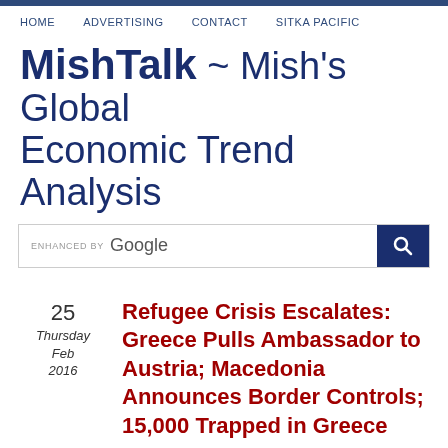HOME  ADVERTISING  CONTACT  SITKA PACIFIC
MishTalk ~ Mish's Global Economic Trend Analysis
[Figure (other): Google search bar with search button]
25
Thursday
Feb
2016
Refugee Crisis Escalates: Greece Pulls Ambassador to Austria; Macedonia Announces Border Controls; 15,000 Trapped in Greece